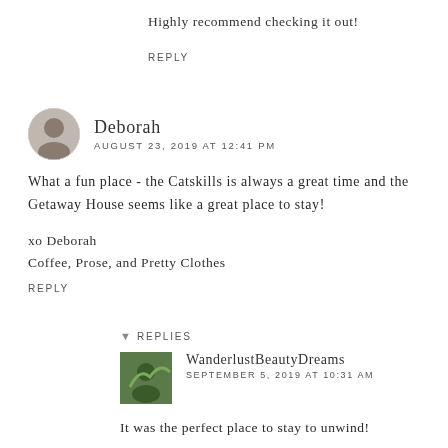Highly recommend checking it out!
REPLY
Deborah
AUGUST 23, 2019 AT 12:41 PM
What a fun place - the Catskills is always a great time and the Getaway House seems like a great place to stay!
xo Deborah
Coffee, Prose, and Pretty Clothes
REPLY
REPLIES
WanderlustBeautyDreams
SEPTEMBER 5, 2019 AT 10:31 AM
It was the perfect place to stay to unwind!